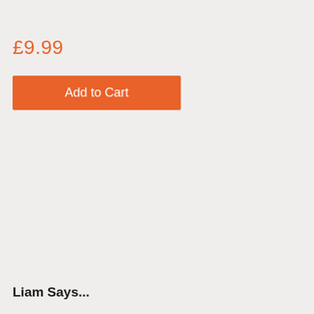£9.99
Add to Cart
Liam Says...